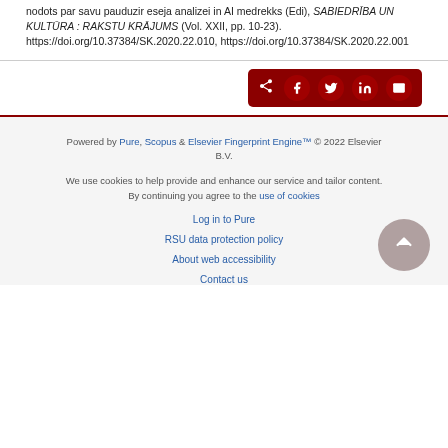nodots par savu pauduzir eseja analizei in AI medrekks (Edi), SABIEDRĪBA UN KULTŪRA : RAKSTU KRĀJUMS (Vol. XXII, pp. 10-23). https://doi.org/10.37384/SK.2020.22.010, https://doi.org/10.37384/SK.2020.22.001
[Figure (other): Social share buttons bar with dark red background containing share, Facebook, Twitter, LinkedIn, and email icons]
Powered by Pure, Scopus & Elsevier Fingerprint Engine™ © 2022 Elsevier B.V.
We use cookies to help provide and enhance our service and tailor content. By continuing you agree to the use of cookies
Log in to Pure
RSU data protection policy
About web accessibility
Contact us